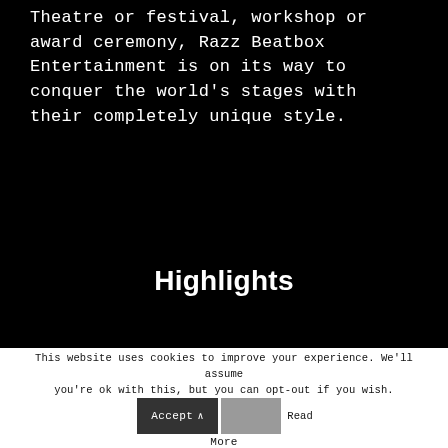Theatre or festival, workshop or award ceremony, Razz Beatbox Entertainment is on its way to conquer the world's stages with their completely unique style.
Highlights
This website uses cookies to improve your experience. We'll assume you're ok with this, but you can opt-out if you wish. Accept Read More